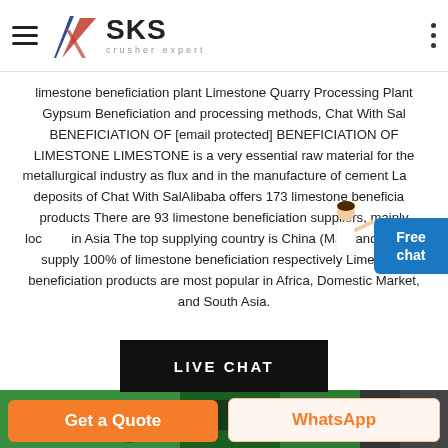SKS crusher expert
limestone beneficiation plant Limestone Quarry Processing Plant Gypsum Beneficiation and processing methods, Chat With Sal BENEFICIATION OF [email protected] BENEFICIATION OF LIMESTONE LIMESTONE is a very essential raw material for the metallurgical industry as flux and in the manufacture of cement Large deposits of Chat With SalAlibaba offers 173 limestone beneficiation products There are 93 limestone beneficiation suppliers, mainly located in Asia The top supplying country is China (Mainland), which supply 100% of limestone beneficiation respectively Limestone beneficiation products are most popular in Africa, Domestic Market, and South Asia.
[Figure (other): Free chat button overlay with person illustration]
[Figure (other): LIVE CHAT black button banner]
[Figure (photo): Green industrial machinery/crusher image]
Get a Quote
WhatsApp